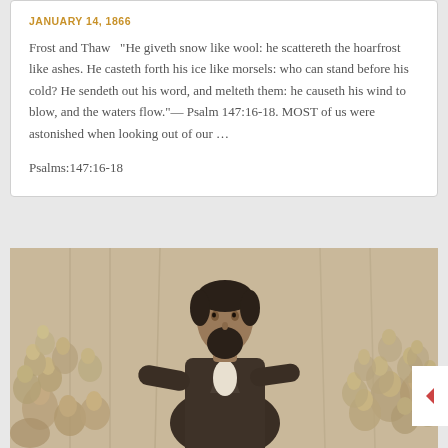JANUARY 14, 1866
Frost and Thaw   “He giveth snow like wool: he scattereth the hoarfrost like ashes. He casteth forth his ice like morsels: who can stand before his cold? He sendeth out his word, and melteth them: he causeth his wind to blow, and the waters flow.”— Psalm 147:16-18. MOST of us were astonished when looking out of our …
Psalms:147:16-18
[Figure (illustration): A sepia-toned engraving of a bearded man standing before a large crowd, appearing to be a preacher or public speaker addressing an audience.]